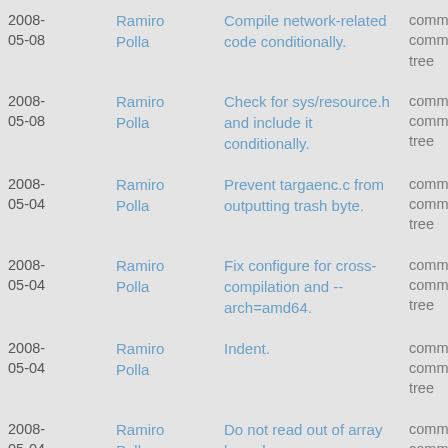| Date | Author | Commit message | Actions |
| --- | --- | --- | --- |
| 2008-05-08 | Ramiro Polla | Compile network-related code conditionally. | commit | commitdiff | tree |
| 2008-05-08 | Ramiro Polla | Check for sys/resource.h and include it conditionally. | commit | commitdiff | tree |
| 2008-05-04 | Ramiro Polla | Prevent targaenc.c from outputting trash byte. | commit | commitdiff | tree |
| 2008-05-04 | Ramiro Polla | Fix configure for cross-compilation and --arch=amd64. | commit | commitdiff | tree |
| 2008-05-04 | Ramiro Polla | Indent. | commit | commitdiff | tree |
| 2008-05-04 | Ramiro Polla | Do not read out of array bounds. | commit | commitdiff | tree |
| 2008-05-01 | Ramiro Polla | Do not duplicate -y parameter on regression.sh. | commit | commitdiff | tree |